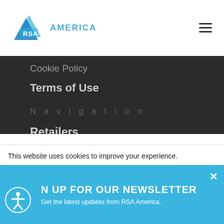RSA AMERICA
Cookie Policy
Terms of Use
Navigation
Retailers
Brands
Strategic Smart Marketing
Innovative Mobile Technology
Actionable Data Analytics
This website uses cookies to improve your experience.
N UP FOR OUR NEWSLETTER
Get the latest updates from RSA America.